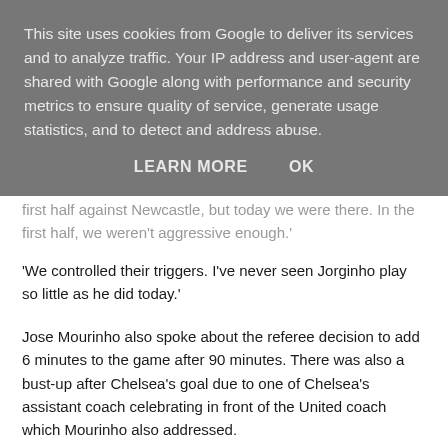This site uses cookies from Google to deliver its services and to analyze traffic. Your IP address and user-agent are shared with Google along with performance and security metrics to ensure quality of service, generate usage statistics, and to detect and address abuse.
LEARN MORE    OK
first half against Newcastle, but today we were there. In the first half, we weren't aggressive enough.'
'We controlled their triggers. I've never seen Jorginho play so little as he did today.'
Jose Mourinho also spoke about the referee decision to add 6 minutes to the game after 90 minutes. There was also a bust-up after Chelsea's goal due to one of Chelsea's assistant coach celebrating in front of the United coach which Mourinho also addressed.